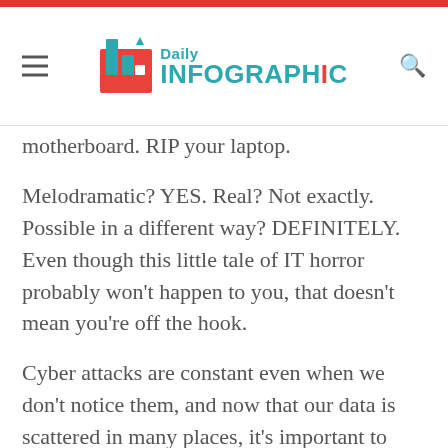Daily Infographic
motherboard. RIP your laptop.
Melodramatic? YES. Real? Not exactly. Possible in a different way? DEFINITELY. Even though this little tale of IT horror probably won't happen to you, that doesn't mean you're off the hook.
Cyber attacks are constant even when we don't notice them, and now that our data is scattered in many places, it's important to keep an eye out for the possibility of security threats.
The team at MacAfee put together this